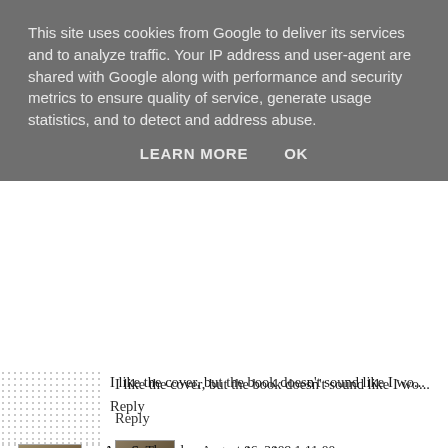This site uses cookies from Google to deliver its services and to analyze traffic. Your IP address and user-agent are shared with Google along with performance and security metrics to ensure quality of service, generate usage statistics, and to detect and address abuse.
LEARN MORE   OK
I like the cover, but the book doesn't sound like I wo...
Reply
Ana S.  Thursday, August 06, 2009 1:11:00 pm
It's too bad this didn't live up to its beautiful cover! based on Milne's son), so maybe I'll give it a try some...
Reply
Carl V. Anderson  Thursday, August 06, 2009 1:17:0...
I can see why you would be attracted by both the...